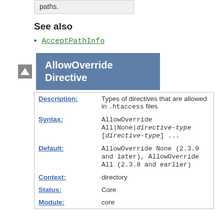paths.
See also
AcceptPathInfo
AllowOverride Directive
| Field | Value |
| --- | --- |
| Description: | Types of directives that are allowed in .htaccess files |
| Syntax: | AllowOverride All|None|directive-type [directive-type] ... |
| Default: | AllowOverride None (2.3.9 and later), AllowOverride All (2.3.8 and earlier) |
| Context: | directory |
| Status: | Core |
| Module: | core |